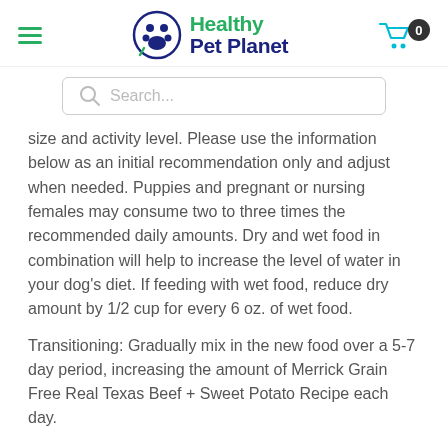Healthy Pet Planet
[Figure (screenshot): Search bar with magnifying glass icon and placeholder text 'Search...']
size and activity level. Please use the information below as an initial recommendation only and adjust when needed. Puppies and pregnant or nursing females may consume two to three times the recommended daily amounts. Dry and wet food in combination will help to increase the level of water in your dog's diet. If feeding with wet food, reduce dry amount by 1/2 cup for every 6 oz. of wet food.
Transitioning: Gradually mix in the new food over a 5-7 day period, increasing the amount of Merrick Grain Free Real Texas Beef + Sweet Potato Recipe each day.
Calorie Content